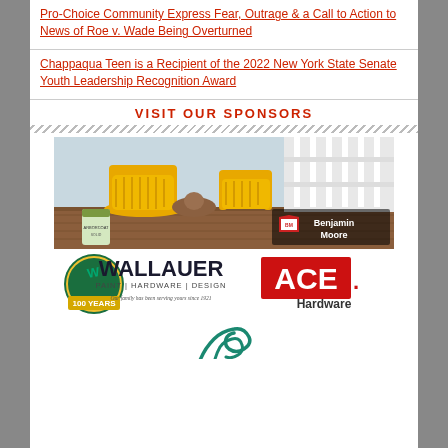Pro-Choice Community Express Fear, Outrage & a Call to Action to News of Roe v. Wade Being Overturned
Chappaqua Teen is a Recipient of the 2022 New York State Senate Youth Leadership Recognition Award
VISIT OUR SPONSORS
[Figure (photo): Benjamin Moore advertisement showing yellow rocking chairs on a porch deck with Arborcoat product and Benjamin Moore logo]
[Figure (logo): Wallauer Paint Hardware Design logo with 100 Years badge and ACE Hardware logo side by side]
[Figure (logo): Partial horse logo at bottom]